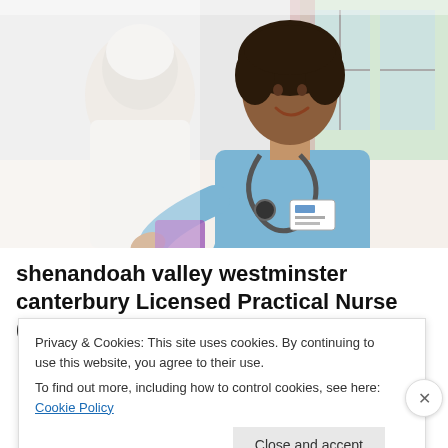[Figure (photo): A nurse in blue scrubs with a stethoscope smiling at an elderly patient in a medical setting. The patient has white hair and is partially visible. Background shows a window with natural light.]
shenandoah valley westminster canterbury Licensed Practical Nurse (LPN/LVN) Jobs in...
Privacy & Cookies: This site uses cookies. By continuing to use this website, you agree to their use.
To find out more, including how to control cookies, see here: Cookie Policy
Close and accept